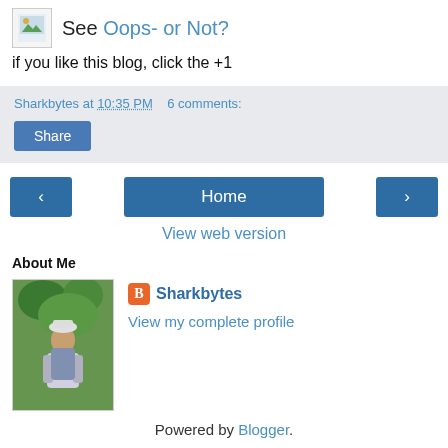See Oops- or Not?
if you like this blog, click the +1
Sharkbytes at 10:35 PM   6 comments:
Share
Home
View web version
About Me
[Figure (photo): Profile photo of Sharkbytes, person wearing backpack outdoors in greenery]
Sharkbytes
View my complete profile
Powered by Blogger.